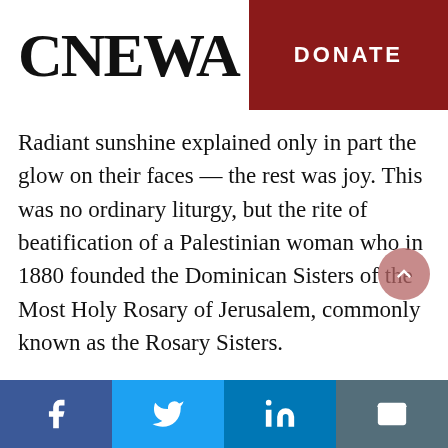CNEWA   DONATE
Radiant sunshine explained only in part the glow on their faces — the rest was joy. This was no ordinary liturgy, but the rite of beatification of a Palestinian woman who in 1880 founded the Dominican Sisters of the Most Holy Rosary of Jerusalem, commonly known as the Rosary Sisters.
Blessed Marie Alphonsine Danil Ghattas was born Soultaneh Maria Ghattas in Jerusalem in 1843. Called to the religious life, she entered the Sisters of St. Joseph of the Apparition with the…
Facebook  Twitter  LinkedIn  Email